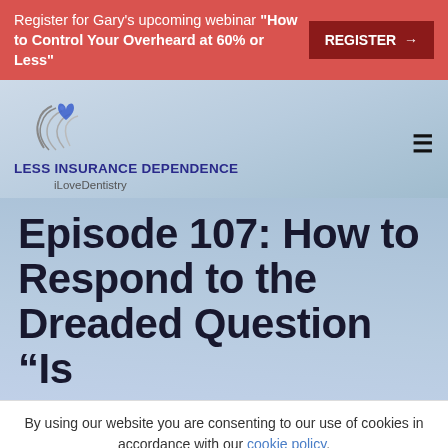Register for Gary's upcoming webinar "How to Control Your Overheard at 60% or Less" REGISTER →
[Figure (logo): iLoveDentistry logo — stylized hands holding a heart with dental imagery, with text LESS INSURANCE DEPENDENCE and iLoveDentistry below]
Episode 107: How to Respond to the Dreaded Question “Is
By using our website you are consenting to our use of cookies in accordance with our cookie policy.
Accept